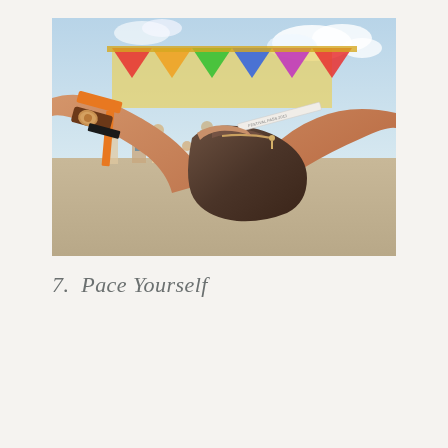[Figure (photo): A person's hands holding up a leather pouch/wallet with a wristband visible (orange festival bracelet and decorative bracelet with watch on wrist), at an outdoor music festival with colorful decorations and crowd in the background.]
7.  Pace Yourself